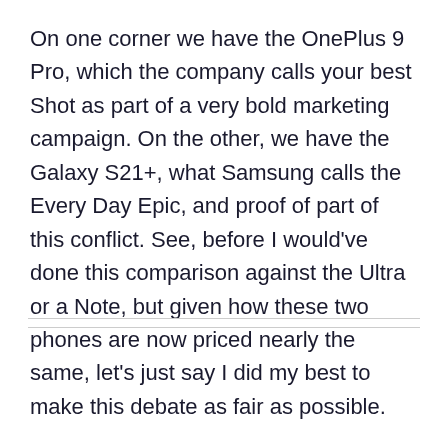On one corner we have the OnePlus 9 Pro, which the company calls your best Shot as part of a very bold marketing campaign. On the other, we have the Galaxy S21+, what Samsung calls the Every Day Epic, and proof of part of this conflict. See, before I would've done this comparison against the Ultra or a Note, but given how these two phones are now priced nearly the same, let's just say I did my best to make this debate as fair as possible.